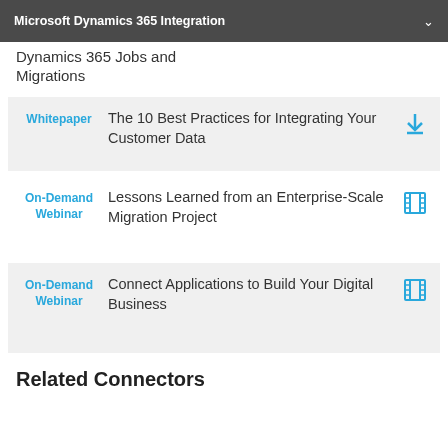Microsoft Dynamics 365 Integration
Dynamics 365 Jobs and Migrations
Whitepaper — The 10 Best Practices for Integrating Your Customer Data
On-Demand Webinar — Lessons Learned from an Enterprise-Scale Migration Project
On-Demand Webinar — Connect Applications to Build Your Digital Business
Related Connectors